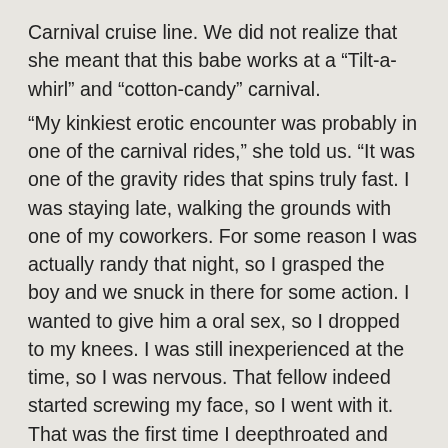Carnival cruise line. We did not realize that she meant that this babe works at a “Tilt-a-whirl” and “cotton-candy” carnival.
“My kinkiest erotic encounter was probably in one of the carnival rides,” she told us. “It was one of the gravity rides that spins truly fast. I was staying late, walking the grounds with one of my coworkers. For some reason I was actually randy that night, so I grasped the boy and we snuck in there for some action. I wanted to give him a oral sex, so I dropped to my knees. I was still inexperienced at the time, so I was nervous. That fellow indeed started screwing my face, so I went with it. That was the first time I deepthroated and got that drooly, damp blowjob spit going on. I swallowed his load, then we banged for, love, 45 minutes before a manager started rogering on the side of the ride coz we were missing for so